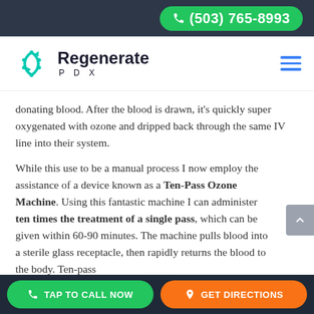(503) 765-8993
[Figure (logo): Regenerate PDX logo with teal circular icon and company name]
donating blood. After the blood is drawn, it's quickly super oxygenated with ozone and dripped back through the same IV line into their system.
While this use to be a manual process I now employ the assistance of a device known as a Ten-Pass Ozone Machine. Using this fantastic machine I can administer ten times the treatment of a single pass, which can be given within 60-90 minutes. The machine pulls blood into a sterile glass receptacle, then rapidly returns the blood to the body. Ten-pass
TAP TO CALL NOW | GET DIRECTIONS